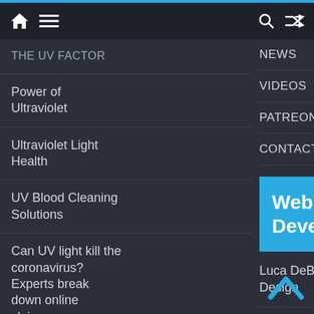Navigation bar with home, menu, search, and shuffle icons
THE UV FACTOR
Power of Ultraviolet
Ultraviolet Light Health
UV Blood Cleaning Solutions
Can UV light kill the coronavirus? Experts break down online claims
Psychology: The truth about the paranormal
Induced After Death
NEWS
VIDEOS
PATREON
CONTACT US
Web Developer
Luca DeBow Web Design